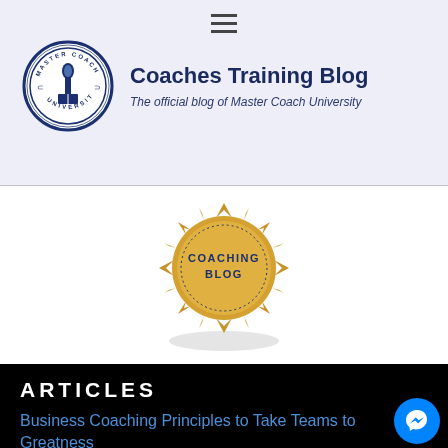Coaches Training Blog – The official blog of Master Coach University
[Figure (logo): Master Coach University circular seal logo in blue and white with a torch and book, and text 'MASTER COACH UNIVERSITY']
Coaches Training Blog
The official blog of Master Coach University
[Figure (illustration): Gold badge/seal with text 'COACHING BLOG' in center, starburst/gear-shaped border, with shadow below]
ARTICLES
Business Coaching Principles to Take Teams to Greatness